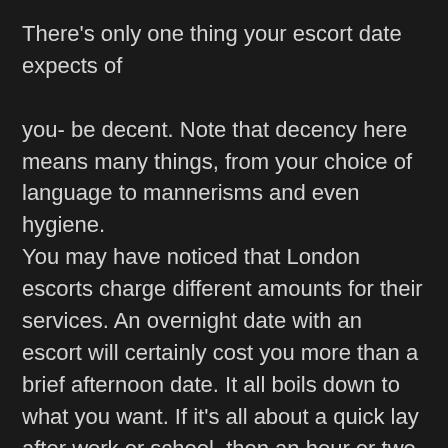There's only one thing your escort date expects of you- be decent. Note that decency here means many things, from your choice of language to mannerisms and even hygiene. You may have noticed that London escorts charge different amounts for their services. An overnight date with an escort will certainly cost you more than a brief afternoon date. It all boils down to what you want. If it's all about a quick lay after work or school, then an hour or two with an escort will suffice. If on the other hand, you want a steamy experience complete with a massage or even a threesome, then your best bet would be to go for an overnight adventure.